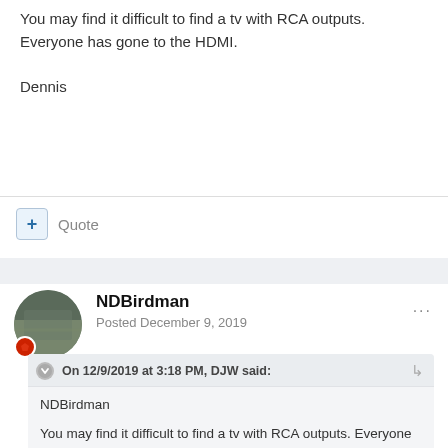You may find it difficult to find a tv with RCA outputs.  Everyone has gone to the HDMI.

Dennis
+ Quote
NDBirdman
Posted December 9, 2019
On 12/9/2019 at 3:18 PM, DJW said:

NDBirdman

You may find it difficult to find a tv with RCA outputs. Everyone has gone to the HDMI.

Dennis